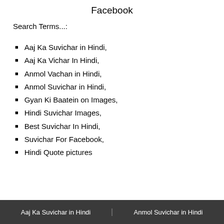Facebook
Search Terms...:
Aaj Ka Suvichar in Hindi,
Aaj Ka Vichar In Hindi,
Anmol Vachan in Hindi,
Anmol Suvichar in Hindi,
Gyan Ki Baatein on Images,
Hindi Suvichar Images,
Best Suvichar In Hindi,
Suvichar For Facebook,
Hindi Quote pictures
Aaj Ka Suvichar in Hindi   Anmol Suvichar in Hindi